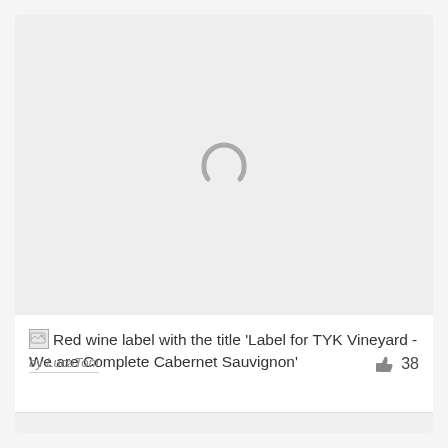[Figure (other): Loading spinner / image placeholder area — a gray circular arc (loading indicator) centered in a light gray rectangle, representing an image that has not yet loaded.]
Red wine label with the title 'Label for TYK Vineyard - We are Complete Cabernet Sauvignon'
by LucaToni
38